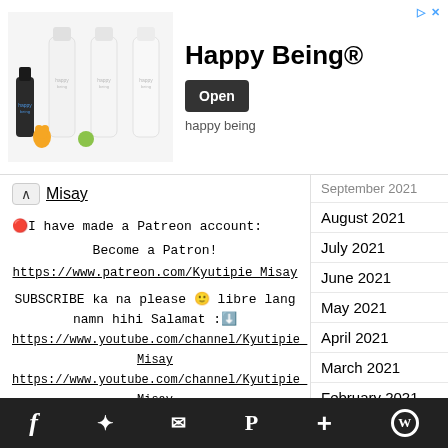[Figure (screenshot): Happy Being® advertisement banner with bottles image, Open button, and ad corner icons]
Misay
🔴I have made a Patreon account:
Become a Patron!
https://www.patreon.com/Kyutipie_Misay
SUBSCRIBE ka na please 🙂 libre lang namn hihi Salamat :⬇️
https://www.youtube.com/channel/Kyutipie_Misay
https://www.youtube.com/channel/Kyutipie_Misay
September 2021
August 2021
July 2021
June 2021
May 2021
April 2021
March 2021
February 2021
January 2021
December 2020
November 2020
f  𝕏  ✉  P  +  W